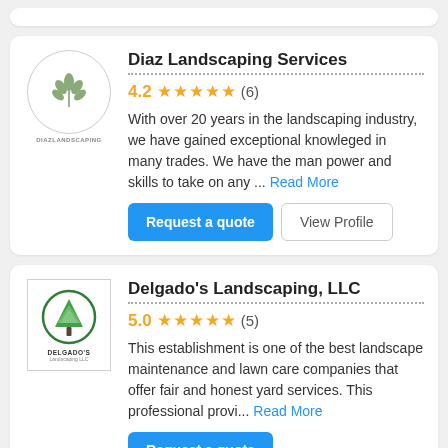[Figure (logo): Diaz Landscaping Services logo - circular with plant/leaf illustration]
Diaz Landscaping Services
4.2 ★★★★★ (6)
With over 20 years in the landscaping industry, we have gained exceptional knowleged in many trades. We have the man power and skills to take on any ... Read More
Request a quote | View Profile
[Figure (logo): Delgado's Landscaping LLC logo - circular green tree with DELGADO'S text]
Delgado's Landscaping, LLC
5.0 ★★★★★ (5)
This establishment is one of the best landscape maintenance and lawn care companies that offer fair and honest yard services. This professional provi... Read More